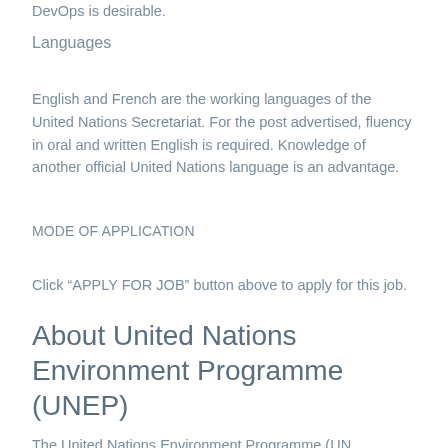DevOps is desirable.
Languages
English and French are the working languages of the United Nations Secretariat. For the post advertised, fluency in oral and written English is required. Knowledge of another official United Nations language is an advantage.
MODE OF APPLICATION
Click “APPLY FOR JOB” button above to apply for this job.
About United Nations Environment Programme (UNEP)
The United Nations Environment Programme (UN